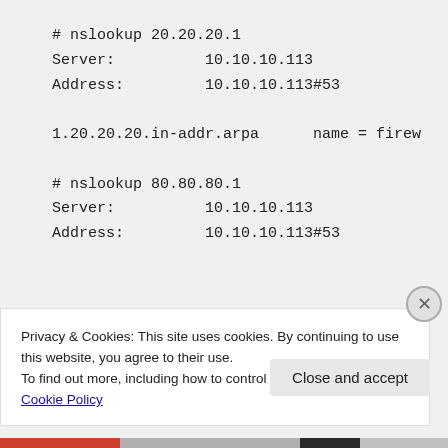# nslookup 20.20.20.1
Server:          10.10.10.113
Address:         10.10.10.113#53

1.20.20.20.in-addr.arpa      name = firew

# nslookup 80.80.80.1
Server:          10.10.10.113
Address:         10.10.10.113#53
Privacy & Cookies: This site uses cookies. By continuing to use this website, you agree to their use.
To find out more, including how to control cookies, see here: Cookie Policy